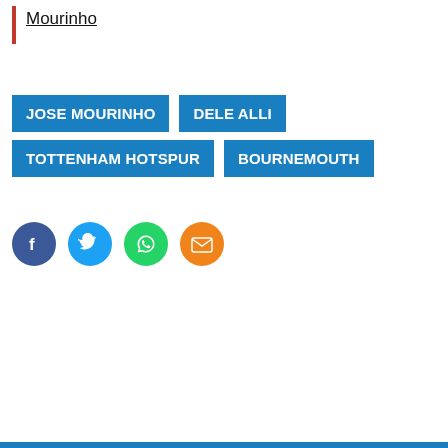Mourinho
JOSE MOURINHO
DELE ALLI
TOTTENHAM HOTSPUR
BOURNEMOUTH
[Figure (infographic): Social media share icons: Facebook (dark blue circle), Twitter (light blue circle), WhatsApp (green circle), Email (orange circle)]